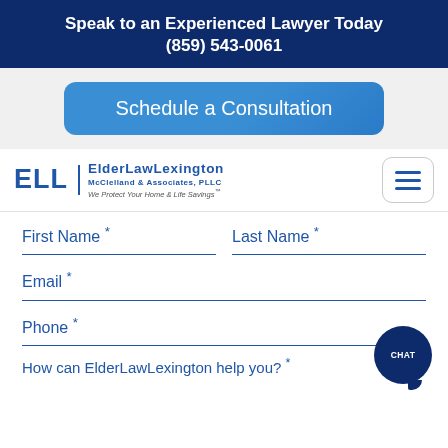Speak to an Experienced Lawyer Today
(859) 543-0061
Schedule a Consultation
[Figure (logo): ELL ElderLawLexington McClelland & Associates, PLLC logo with tagline 'We Protect Your Home & Life Savings']
First Name *
Last Name *
Email *
Phone *
How can ElderLawLexington help you? *